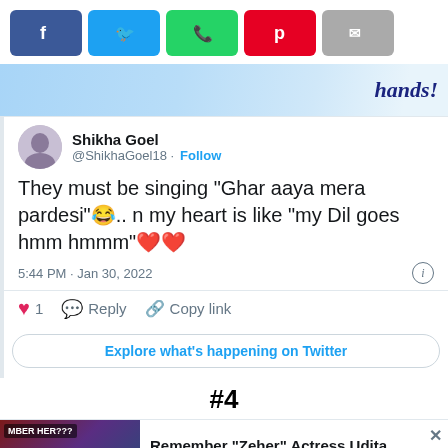[Figure (screenshot): Social media share buttons: Facebook (blue), Twitter (light blue), WhatsApp (green), Pinterest (red), Email (grey)]
[Figure (screenshot): Partial image with text 'hands!' visible on right side]
Shikha Goel
@ShikhaGoel18 · Follow
They must be singing "Ghar aaya mera pardesi"😂.. n my heart is like "my Dil goes hmm hmmm"❤️❤️
5:44 PM · Jan 30, 2022
❤ 1  Reply  Copy link
Explore what's happening on Twitter
#4
Remember "Zeher" Actress Udita Goswami? Here's What She Is Up To Now